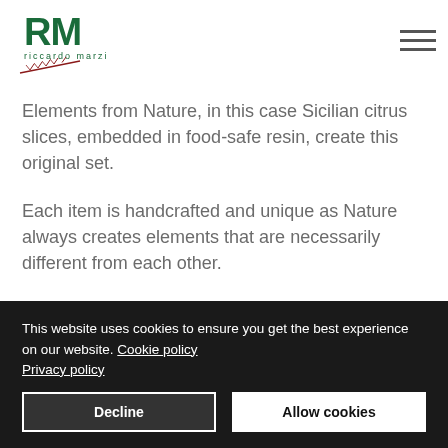RM Riccardo Marzi logo and navigation
Elements from Nature, in this case Sicilian citrus slices, embedded in food-safe resin, create this original set.
Each item is handcrafted and unique as Nature always creates elements that are necessarily different from each other.
This website uses cookies to ensure you get the best experience on our website. Cookie policy Privacy policy
Decline
Allow cookies